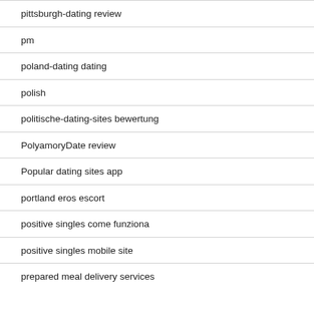pittsburgh-dating review
pm
poland-dating dating
polish
politische-dating-sites bewertung
PolyamoryDate review
Popular dating sites app
portland eros escort
positive singles come funziona
positive singles mobile site
prepared meal delivery services